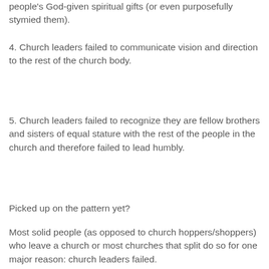people's God-given spiritual gifts (or even purposefully stymied them).
4. Church leaders failed to communicate vision and direction to the rest of the church body.
5. Church leaders failed to recognize they are fellow brothers and sisters of equal stature with the rest of the people in the church and therefore failed to lead humbly.
Picked up on the pattern yet?
Most solid people (as opposed to church hoppers/shoppers) who leave a church or most churches that split do so for one major reason: church leaders failed.